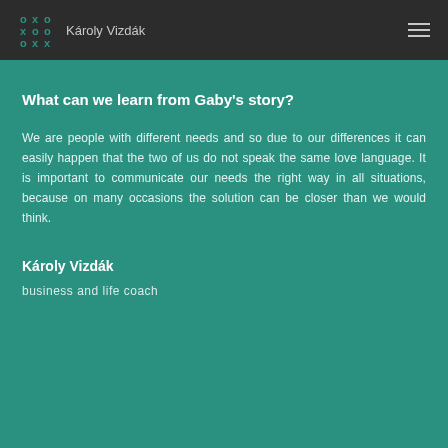Károly Vizdák
What can we learn from Gaby's story?
We are people with different needs and so due to our differences it can easily happen that the two of us do not speak the same love language. It is important to communicate our needs the right way in all situations, because on many occasions the solution can be closer than we would think.
Károly Vizdák
business and life coach